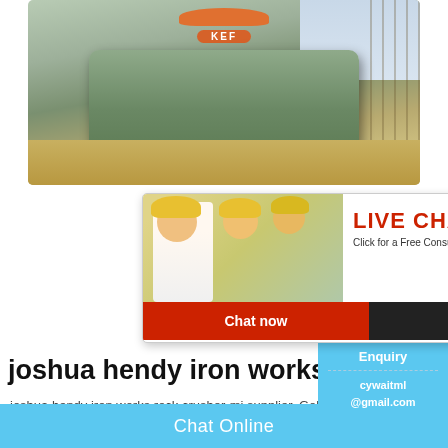[Figure (photo): Industrial rock crusher/cone crusher machine (KEFI branded) on a construction/mining site with scaffolding and sandy terrain in background]
[Figure (photo): Live chat popup overlay showing a smiling woman in hardhat with two colleagues behind her, with red 'LIVE CHAT' header, subtitle 'Click for a Free Consultation', and two buttons: 'Chat now' (red) and 'Chat later' (dark)]
[Figure (infographic): Blue gauge/mood meter widget on right side showing a semicircular gauge with yellow-green gradient, smiley face icons at various levels, a 'Click me to chat >>' button, 'Enquiry' heading, and 'cywaitml@gmail.com' email address. Text at top: 'est state for you!']
joshua hendy iron works rock crusher-mining equim
joshua hendy iron works rock crusher-mi supplier. Gold Ore Jaw Crusher - $4,500 make / manufacturer: Hendy Iron Works
Chat Online